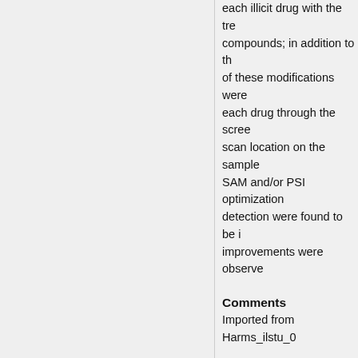each illicit drug with the treatment compounds; in addition to the of these modifications were each drug through the scree scan location on the sample SAM and/or PSI optimization detection were found to be i improvements were observe
Comments
Imported from Harms_ilstu_0
Recommended Citation
Harms, John, "Improving Sers Modified With Self-Assembled https://ir.library.illinoisstate.e
DOI
https://doi.org/10.30707/ETD
Page Count
81